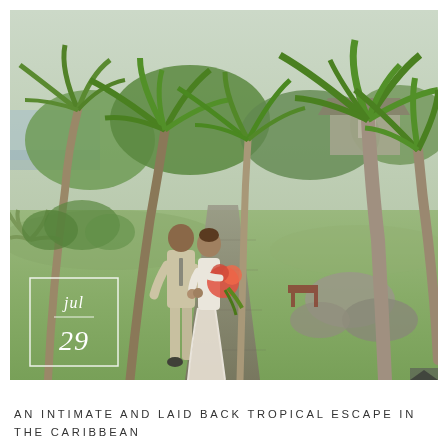[Figure (photo): A bride and groom walking hand-in-hand along a tropical garden path surrounded by tall palm trees, lush greenery, and distant ocean view. The groom wears a light tan suit; the bride wears a flowing white gown and holds a colorful bouquet. A date overlay box shows 'jul / 29' in white italic text with a white border, placed in the lower left of the photo.]
AN INTIMATE AND LAID BACK TROPICAL ESCAPE IN THE CARIBBEAN